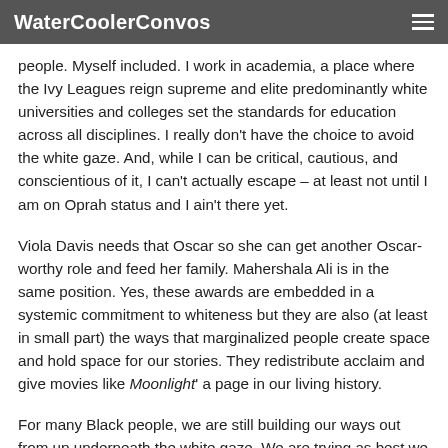WaterCoolerConvos
people. Myself included. I work in academia, a place where the Ivy Leagues reign supreme and elite predominantly white universities and colleges set the standards for education across all disciplines. I really don't have the choice to avoid the white gaze. And, while I can be critical, cautious, and conscientious of it, I can't actually escape – at least not until I am on Oprah status and I ain't there yet.
Viola Davis needs that Oscar so she can get another Oscar-worthy role and feed her family. Mahershala Ali is in the same position. Yes, these awards are embedded in a systemic commitment to whiteness but they are also (at least in small part) the ways that marginalized people create space and hold space for our stories. They redistribute acclaim and give movies like Moonlight' a page in our living history.
For many Black people, we are still building our ways out from up underneath the white gaze. We are trying as best we can to